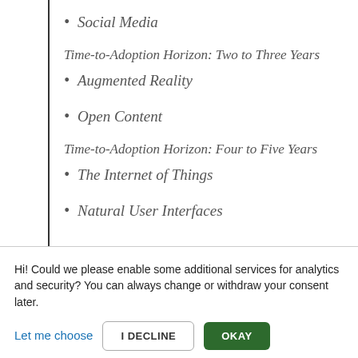Social Media
Time-to-Adoption Horizon: Two to Three Years
Augmented Reality
Open Content
Time-to-Adoption Horizon: Four to Five Years
The Internet of Things
Natural User Interfaces
Hi! Could we please enable some additional services for analytics and security? You can always change or withdraw your consent later.
Let me choose
I DECLINE
OKAY